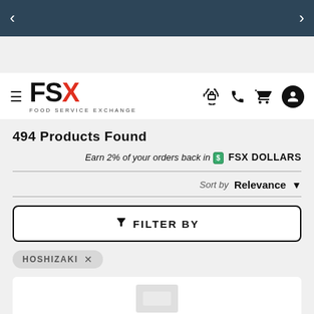FSX Food Service Exchange navigation bar with back and forward arrows
[Figure (logo): FSX Food Service Exchange logo with hamburger menu, phone, cart, and user icons]
Search for brand, model number, category, etc...
494 Products Found
Earn 2% of your orders back in FSX DOLLARS
Sort by Relevance
FILTER BY
HOSHIZAKI ×